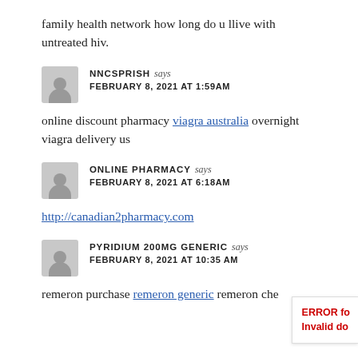family health network how long do u llive with untreated hiv.
NNCSPRISH says
FEBRUARY 8, 2021 AT 1:59AM
online discount pharmacy viagra australia overnight viagra delivery us
ONLINE PHARMACY says
FEBRUARY 8, 2021 AT 6:18AM
http://canadian2pharmacy.com
PYRIDIUM 200MG GENERIC says
FEBRUARY 8, 2021 AT 10:35 AM
remeron purchase remeron generic remeron che...
ERROR fo
Invalid do